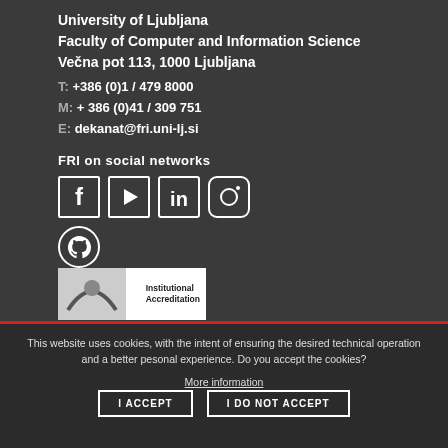University of Ljubljana
Faculty of Computer and Information Science
Večna pot 113, 1000 Ljubljana
T: +386 (0)1 / 479 8000
M: + 386 (0)41 / 309 751
E: dekanat@fri.uni-lj.si
FRI on social networks
[Figure (infographic): Social media icons: Facebook, YouTube, LinkedIn, Instagram, GitHub]
[Figure (logo): Institutional Accreditation logo badge with white background]
This website uses cookies, with the intent of ensuring the desired technical operation and a better pesonal experience. Do you accept the cookies?
More information
I ACCEPT
I DO NOT ACCEPT